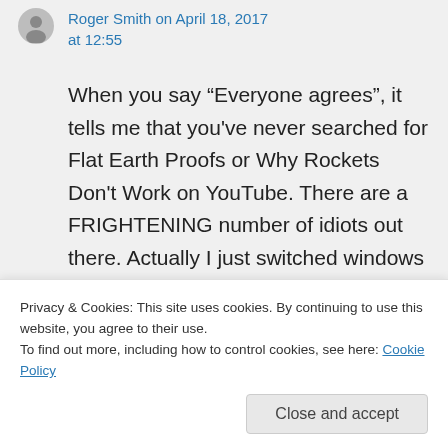Roger Smith on April 18, 2017 at 12:55
When you say “Everyone agrees”, it tells me that you've never searched for Flat Earth Proofs or Why Rockets Don't Work on YouTube. There are a FRIGHTENING number of idiots out there. Actually I just switched windows and
Privacy & Cookies: This site uses cookies. By continuing to use this website, you agree to their use.
To find out more, including how to control cookies, see here: Cookie Policy
Close and accept